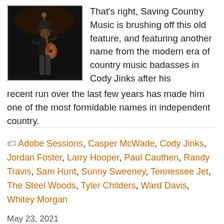[Figure (photo): A musician on stage playing guitar, wearing a hat, photographed against a dark background.]
That's right, Saving Country Music is brushing off this old feature, and featuring another name from the modern era of country music badasses in Cody Jinks after his recent run over the last few years has made him one of the most formidable names in independent country.
Adobe Sessions, Casper McWade, Cody Jinks, Jordan Foster, Larry Hooper, Paul Cauthen, Randy Travis, Sam Hunt, Sunny Sweeney, Tennessee Jet, The Steel Woods, Tyler Childers, Ward Davis, Whitey Morgan
May 23, 2021
Randy Travis Sets Alan Jackson